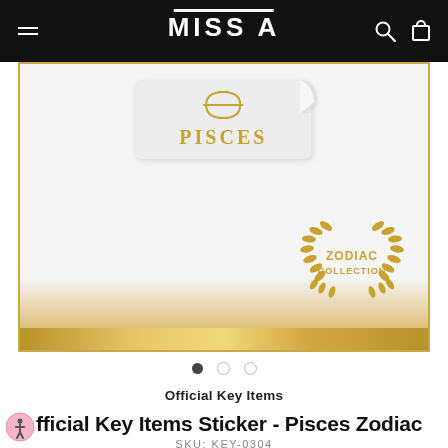[Figure (logo): Miss A store navigation bar with hamburger menu, MISS A logo in white on black background, search and cart icons]
[Figure (photo): Product image of Pisces Zodiac sticker on white/light grey background with gold border, showing a Pisces sticker tag and Zodiac Collection laurel wreath stamp in gold, with gold gradient strip at bottom]
Official Key Items
Official Key Items Sticker - Pisces Zodiac
SKU: KEY-0304